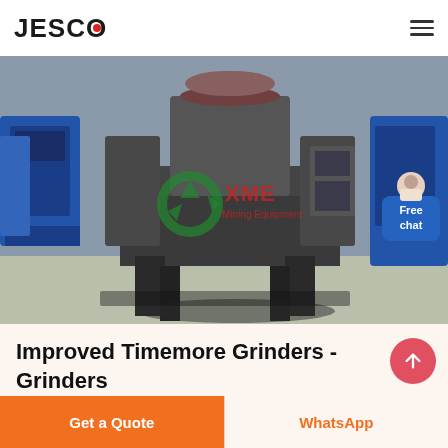JESCO
[Figure (photo): Industrial mining equipment - a large vertical shaft impact crusher or similar grinding machine in a factory/warehouse setting. The machine is dark grey/black metal, with blue machinery visible in the background. An XME Mining Equipment watermark logo is overlaid on the image. A 'Free chat' button with a customer service representative avatar is overlaid in the top-right corner of the image.]
Improved Timemore Grinders - Grinders
Get a Quote
WhatsApp